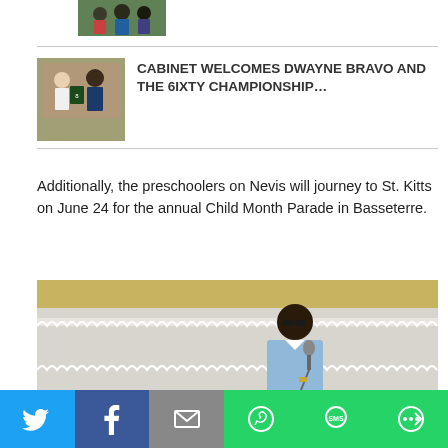[Figure (photo): Small thumbnail photo at top, partially visible]
[Figure (photo): Photo of two men, one holding a jersey - Cabinet welcomes Dwayne Bravo]
CABINET WELCOMES DWAYNE BRAVO AND THE 6IXTY CHAMPIONSHIP…
Additionally, the preschoolers on Nevis will journey to St. Kitts on June 24 for the annual Child Month Parade in Basseterre.
[Figure (photo): Photo of a man in a light blue shirt speaking at a microphone outdoors]
Twitter | Facebook | Email | WhatsApp | SMS | More